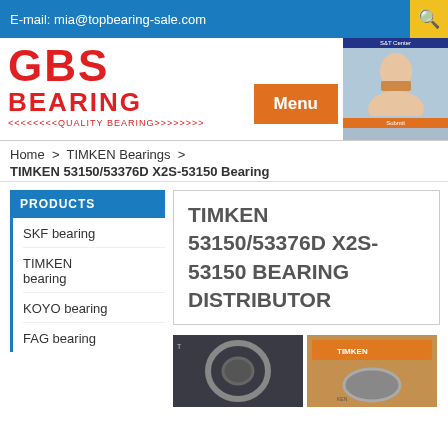E-mail: mia@topbearing-sale.com
[Figure (logo): GBS Bearing logo in red with text GBS BEARING and <<<<<QUALITY BEARING>>>>>]
Menu
Home > TIMKEN Bearings > TIMKEN 53150/53376D X2S-53150 Bearing
PRODUCTS
SKF bearing
TIMKEN bearing
KOYO bearing
FAG bearing
TIMKEN 53150/53376D X2S-53150 BEARING DISTRIBUTOR
[Figure (photo): Two product photos of TIMKEN bearings]